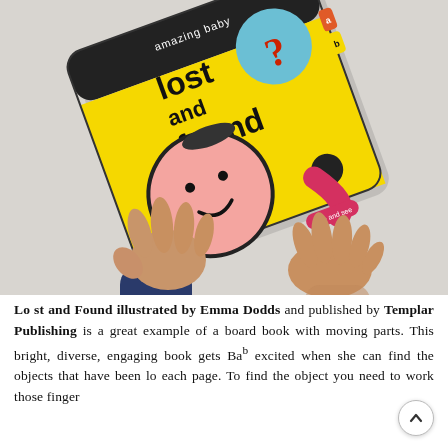[Figure (photo): A yellow children's board book titled 'lost and found' by Amazing Baby, illustrated by Emma Dodds, published by Templar Publishing. The cover shows a cartoon baby face and a question mark in a blue circle. A baby's hands are visible touching the book on a white surface.]
Lost and Found illustrated by Emma Dodds and published by Templar Publishing is a great example of a board book with moving parts. This bright, diverse, engaging book gets Baby excited when she can find the objects that have been lo each page. To find the object you need to work those finger